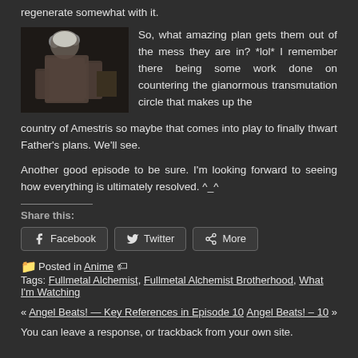regenerate somewhat with it.
[Figure (photo): Anime screenshot of a muscular character with white/grey hair in a dark setting, crouching or in a fighting stance]
So, what amazing plan gets them out of the mess they are in? *lol* I remember there being some work done on countering the gianormous transmutation circle that makes up the country of Amestris so maybe that comes into play to finally thwart Father's plans. We'll see.
Another good episode to be sure. I'm looking forward to seeing how everything is ultimately resolved. ^_^
Share this:
Facebook  Twitter  More
Posted in Anime  Tags: Fullmetal Alchemist, Fullmetal Alchemist Brotherhood, What I'm Watching
« Angel Beats! — Key References in Episode 10    Angel Beats! – 10 »
You can leave a response, or trackback from your own site.